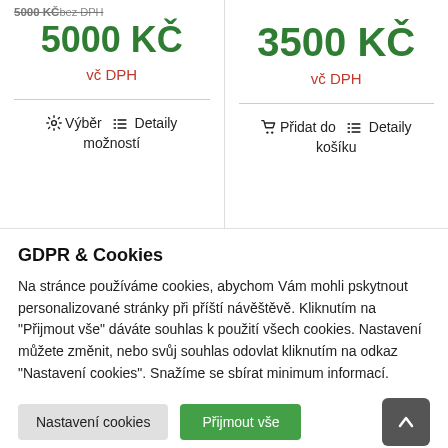5000 KČ bez DPH
5000 KČ
vč DPH
⚙ Výběr možností   ≡ Detaily
3500 KČ
vč DPH
🛒 Přidat do košíku   ≡ Detaily
GDPR & Cookies
Na stránce používáme cookies, abychom Vám mohli pskytnout personalizované stránky při příští návěštěvě. Kliknutím na "Přijmout vše" dáváte souhlas k použití všech cookies. Nastavení můžete změnit, nebo svůj souhlas odovlat kliknutím na odkaz "Nastavení cookies". Snažíme se sbírat minimum informací.
Nastavení cookies
Přijmout vše